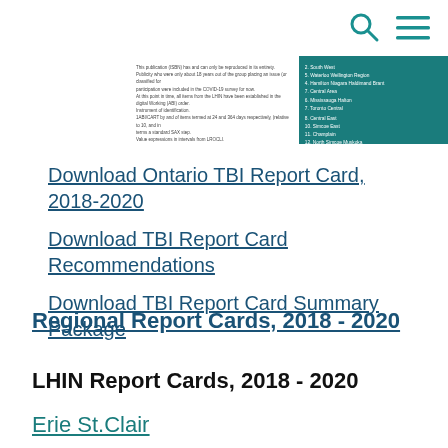[Figure (screenshot): Navigation bar with search (magnifying glass) and hamburger menu icons in teal color on white background]
[Figure (screenshot): Thumbnail strip showing a document excerpt with white left panel containing small text and teal right panel with numbered list of regions]
Download Ontario TBI Report Card, 2018-2020
Download TBI Report Card Recommendations
Download TBI Report Card Summary Package
Regional Report Cards, 2018 - 2020
LHIN Report Cards, 2018 - 2020
Erie St.Clair